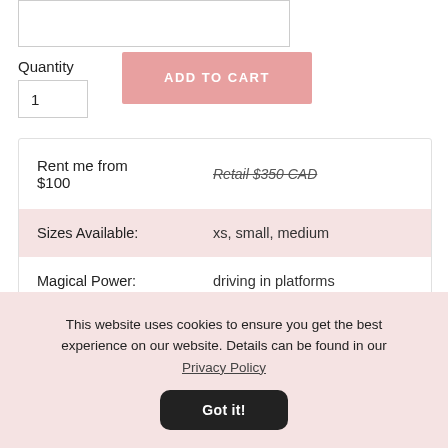Quantity
1
ADD TO CART
| Rent me from $100 | Retail $350 CAD |
| Sizes Available: | xs, small, medium |
| Magical Power: | driving in platforms |
This website uses cookies to ensure you get the best experience on our website. Details can be found in our Privacy Policy
Got it!